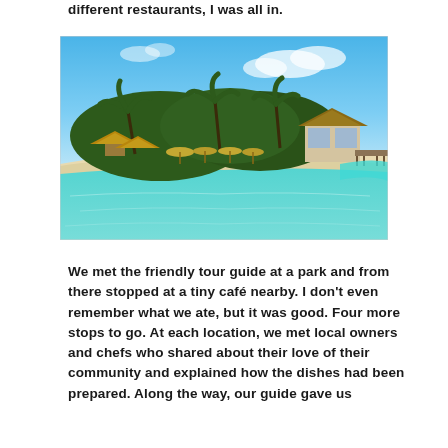different restaurants, I was all in.
[Figure (photo): Aerial/waterfront view of a tropical island resort with thatched-roof bungalows, palm trees, a white sandy beach, and turquoise/blue ocean water in the foreground under a bright blue sky with some clouds.]
We met the friendly tour guide at a park and from there stopped at a tiny café nearby. I don't even remember what we ate, but it was good. Four more stops to go. At each location, we met local owners and chefs who shared about their love of their community and explained how the dishes had been prepared. Along the way, our guide gave us